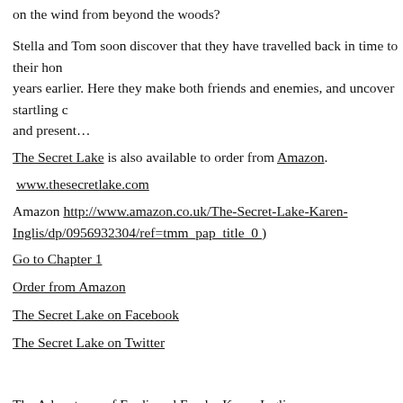on the wind from beyond the woods?
Stella and Tom soon discover that they have travelled back in time to their hon years earlier. Here they make both friends and enemies, and uncover startling c and present…
The Secret Lake is also available to order from Amazon.
www.thesecretlake.com
Amazon http://www.amazon.co.uk/The-Secret-Lake-Karen-Inglis/dp/0956932304/ref=tmm_pap_title_0 )
Go to Chapter 1
Order from Amazon
The Secret Lake on Facebook
The Secret Lake on Twitter
The Adventures of Ferdinand Fox by Karen Inglis.
Karen is also working on her series for younger children The Adventures of Fo last few months working with my illustrator to bring Ferdinand to life and we'